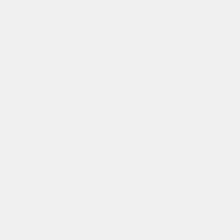ex=8|title=Bismuth Ingot|image=Bismuth_ingot.png|link=Bismuth Ingot}}{{Inventory/Slot|index=20|title=Bismuth Ingot|image=Bismuth_ingot.png|link=Bismuth Ingot}}{{Inventory/Slot|index=6|title=Bismuth Ingot|image=Bismuth_